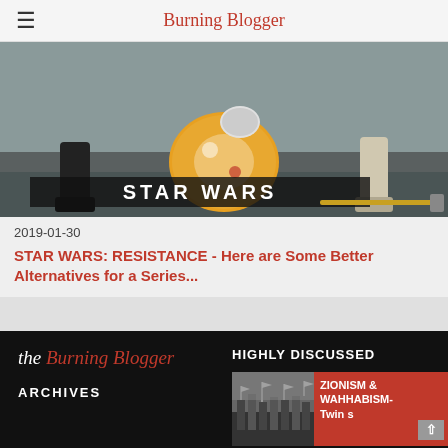Burning Blogger
[Figure (photo): Star Wars: Resistance animated image showing BB-8 droid rolling along a surface with 'STAR WARS' text overlay and characters' feet visible]
2019-01-30
STAR WARS: RESISTANCE - Here are Some Better Alternatives for a Series...
the Burning Blogger | ARCHIVES | HIGHLY DISCUSSED | ZIONISM & WAHHABISM- Twin ...s
[Figure (photo): Black and white historical photo of soldiers or fighters with flags]